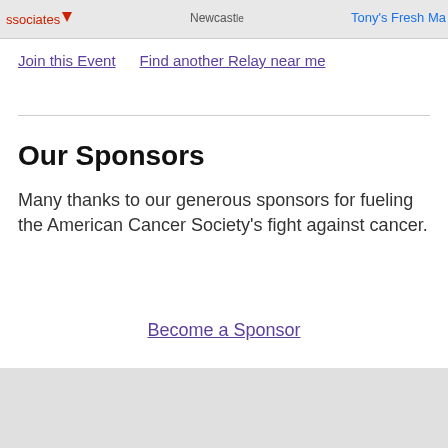[Figure (map): Partial map strip showing location marker with text 'ssociates', a map background with 'Newcastle' label, and 'Tony's Fresh Ma' text on the right in blue]
Join this Event    Find another Relay near me
Our Sponsors
Many thanks to our generous sponsors for fueling the American Cancer Society's fight against cancer.
Become a Sponsor